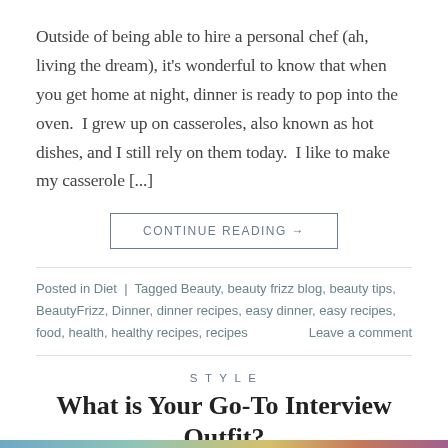Outside of being able to hire a personal chef (ah, living the dream), it's wonderful to know that when you get home at night, dinner is ready to pop into the oven.  I grew up on casseroles, also known as hot dishes, and I still rely on them today.  I like to make my casserole [...]
CONTINUE READING →
Posted in Diet  |  Tagged Beauty, beauty frizz blog, beauty tips, BeautyFrizz, Dinner, dinner recipes, easy dinner, easy recipes, food, health, healthy recipes, recipes    Leave a comment
STYLE
What is Your Go-To Interview Outfit?
POSTED ON OCTOBER 24, 2016 BY LORI WALKER